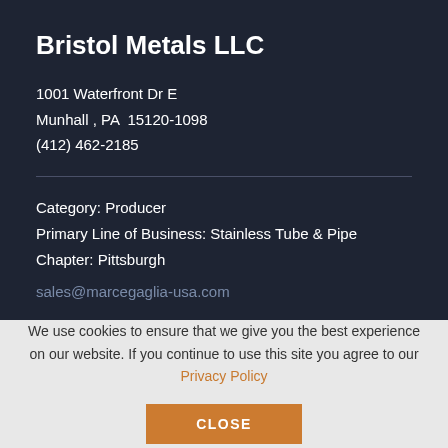Bristol Metals LLC
1001 Waterfront Dr E
Munhall , PA  15120-1098
(412) 462-2185
Category: Producer
Primary Line of Business: Stainless Tube & Pipe
Chapter: Pittsburgh
sales@marcegaglia-usa.com
We use cookies to ensure that we give you the best experience on our website. If you continue to use this site you agree to our Privacy Policy